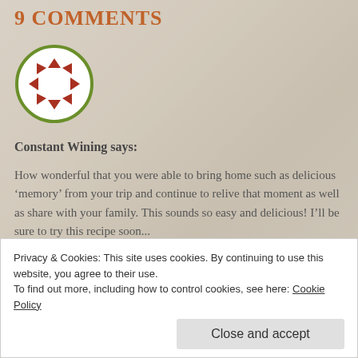9 COMMENTS
[Figure (logo): Circular avatar logo with red/brown geometric leaf/arrow pattern inside a green circle border]
Constant Wining says:
How wonderful that you were able to bring home such as delicious ‘memory’ from your trip and continue to relive that moment as well as share with your family. This sounds so easy and delicious! I’ll be sure to try this recipe soon...
★ Loading...
Privacy & Cookies: This site uses cookies. By continuing to use this website, you agree to their use.
To find out more, including how to control cookies, see here: Cookie Policy
Close and accept